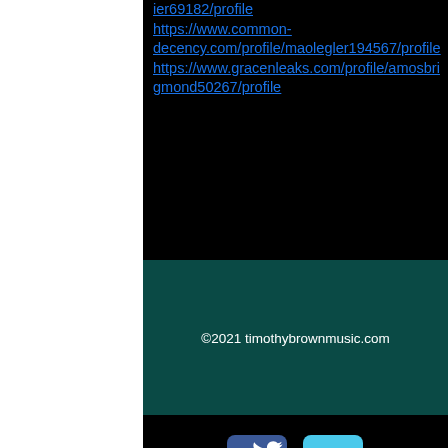ier69182/profile https://www.common-decency.com/profile/maolegler194567/profile https://www.gracenleaks.com/profile/amosbrigmond50267/profile
©2021 timothybrownmusic.com
[Figure (other): Social media icons: Facebook (blue square with f) and Twitter (light blue square with bird icon)]